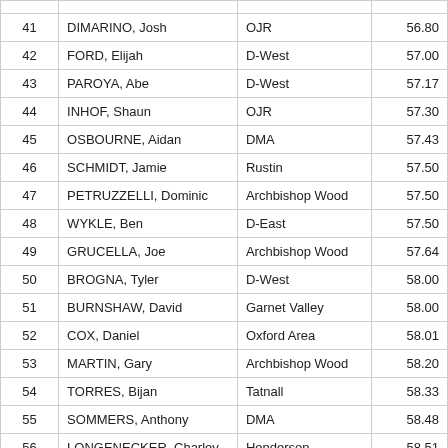|  |  |  |  |
| --- | --- | --- | --- |
| 41 | DIMARINO, Josh | OJR | 56.80 |
| 42 | FORD, Elijah | D-West | 57.00 |
| 43 | PAROYA, Abe | D-West | 57.17 |
| 44 | INHOF, Shaun | OJR | 57.30 |
| 45 | OSBOURNE, Aidan | DMA | 57.43 |
| 46 | SCHMIDT, Jamie | Rustin | 57.50 |
| 47 | PETRUZZELLI, Dominic | Archbishop Wood | 57.50 |
| 48 | WYKLE, Ben | D-East | 57.50 |
| 49 | GRUCELLA, Joe | Archbishop Wood | 57.64 |
| 50 | BROGNA, Tyler | D-West | 58.00 |
| 51 | BURNSHAW, David | Garnet Valley | 58.00 |
| 52 | COX, Daniel | Oxford Area | 58.01 |
| 53 | MARTIN, Gary | Archbishop Wood | 58.20 |
| 54 | TORRES, Bijan | Tatnall | 58.33 |
| 55 | SOMMERS, Anthony | DMA | 58.48 |
| 56 | LONGENECKER, Charley | Henderson | 58.51 |
| 57 | LANGAN, Aidan | Henderson | 58.55 |